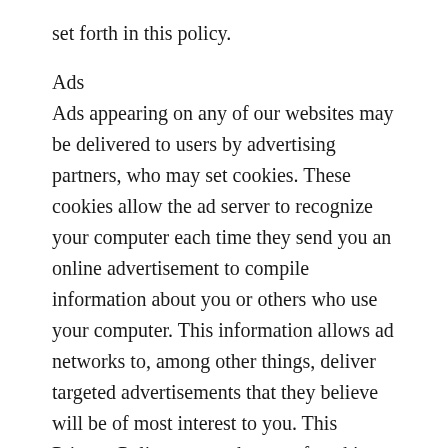set forth in this policy.
Ads
Ads appearing on any of our websites may be delivered to users by advertising partners, who may set cookies. These cookies allow the ad server to recognize your computer each time they send you an online advertisement to compile information about you or others who use your computer. This information allows ad networks to, among other things, deliver targeted advertisements that they believe will be of most interest to you. This Privacy Policy covers the use of cookies by ABC LLC and does not cover the use of cookies by any advertisers.